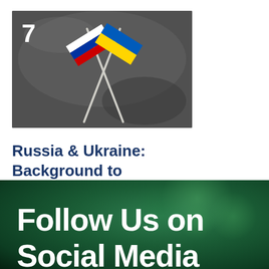[Figure (photo): Crossed Russian and Ukrainian flags with number 7 in top-left corner, dark grey textured background]
Russia & Ukraine: Background to Conflict
[Figure (photo): Green bokeh background banner with text 'Follow Us on Social Media' in white bold font]